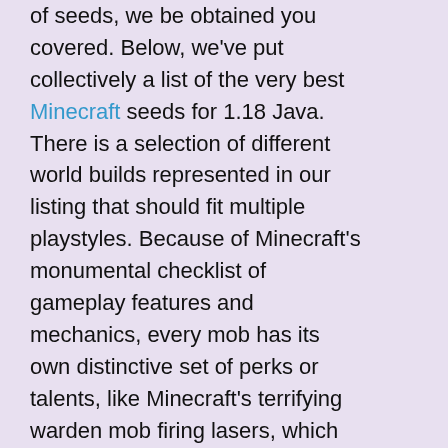of seeds, we be obtained you covered. Below, we've put collectively a list of the very best Minecraft seeds for 1.18 Java. There is a selection of different world builds represented in our listing that should fit multiple playstyles. Because of Minecraft's monumental checklist of gameplay features and mechanics, every mob has its own distinctive set of perks or talents, like Minecraft's terrifying warden mob firing lasers, which harms the player and prevents them from progressing. Creepers are particularly harmful to villages and to homes as a result of they will blow a hole into a home and leave it open for different hostile mobs to enter and kill the participant or a villager. As extra types of blocks, similar to soil and snow, are used to supply water springs, there's a higher possibility of tiny mountain streams and waterfalls occurring. Buildplates are simpler to work on indoors, where you'll be able to place the small scale-model on a desk and go from there. While there are different technique of